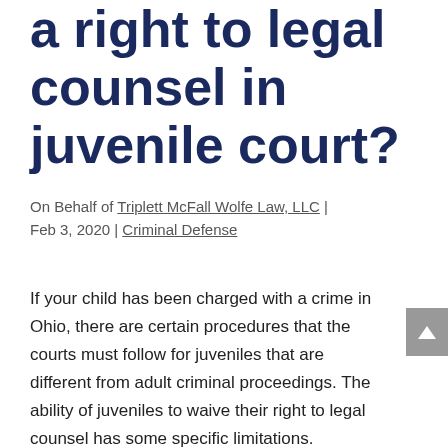a right to legal counsel in juvenile court?
On Behalf of Triplett McFall Wolfe Law, LLC | Feb 3, 2020 | Criminal Defense
If your child has been charged with a crime in Ohio, there are certain procedures that the courts must follow for juveniles that are different from adult criminal proceedings. The ability of juveniles to waive their right to legal counsel has some specific limitations.